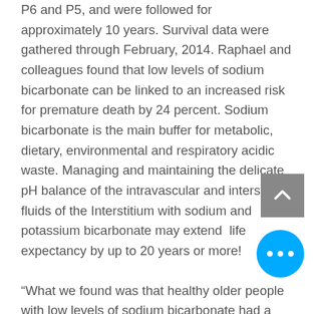P6 and P5, and were followed for approximately 10 years. Survival data were gathered through February, 2014. Raphael and colleagues found that low levels of sodium bicarbonate can be linked to an increased risk for premature death by 24 percent. Sodium bicarbonate is the main buffer for metabolic, dietary, environmental and respiratory acidic waste. Managing and maintaining the delicate pH balance of the intravascular and interstitial fluids of the Interstitium with sodium and potassium bicarbonate may extend  life expectancy by up to 20 years or more!
“What we found was that healthy older people with low levels of sodium bicarbonate had a higher risk of death,” Raphael said. The findings can assist clinicians in better assessing